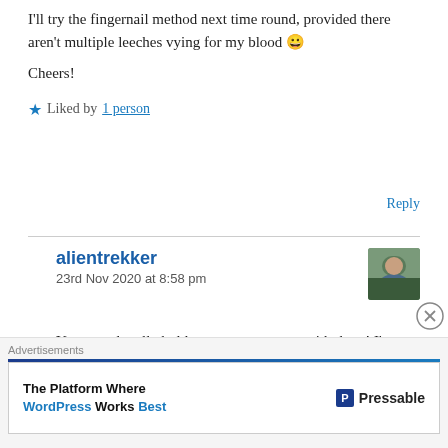I'll try the fingernail method next time round, provided there aren't multiple leeches vying for my blood 😀
Cheers!
★ Liked by 1 person
Reply
alientrekker
23rd Nov 2020 at 8:58 pm
You sound really bold on your encounter with them! I'm a bit confused, but what tactic did you use?
Advertisements
The Platform Where WordPress Works Best  Pressable